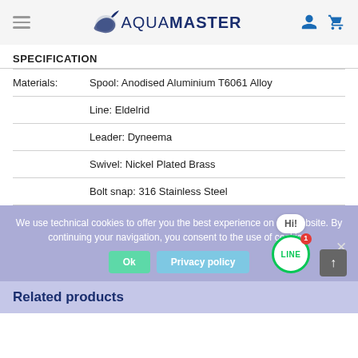AquaMaster navigation header with hamburger menu, logo, user and cart icons
SPECIFICATION
| Materials: |  |
| --- | --- |
| Materials: | Spool: Anodised Aluminium T6061 Alloy |
|  | Line: Eldelrid |
|  | Leader: Dyneema |
|  | Swivel: Nickel Plated Brass |
|  | Bolt snap: 316 Stainless Steel |
We use technical cookies to offer you the best experience on our website. By continuing your navigation, you consent to the use of cookies.
Related products